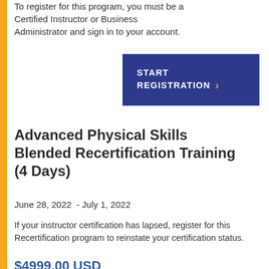To register for this program, you must be a Certified Instructor or Business Administrator and sign in to your account.
[Figure (other): Blue button with white bold uppercase text 'START REGISTRATION' and an orange right-chevron arrow]
Advanced Physical Skills Blended Recertification Training (4 Days)
June 28, 2022  -  July 1, 2022
If your instructor certification has lapsed, register for this Recertification program to reinstate your certification status.
$4999.00 USD
To register for this program, you must be a